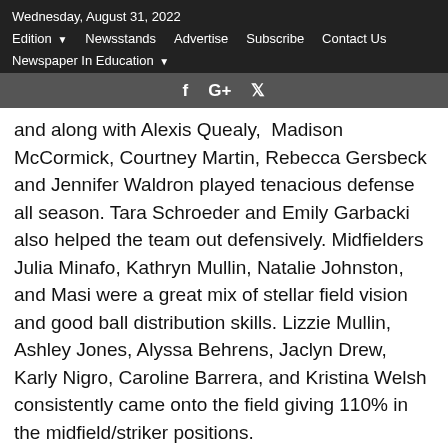Wednesday, August 31, 2022
Edition  Newsstands  Advertise  Subscribe  Contact Us  Newspaper In Education
and along with Alexis Quealy,  Madison McCormick, Courtney Martin, Rebecca Gersbeck and Jennifer Waldron played tenacious defense all season. Tara Schroeder and Emily Garbacki also helped the team out defensively. Midfielders Julia Minafo, Kathryn Mullin, Natalie Johnston, and Masi were a great mix of stellar field vision and good ball distribution skills. Lizzie Mullin, Ashley Jones, Alyssa Behrens, Jaclyn Drew, Karly Nigro, Caroline Barrera, and Kristina Welsh consistently came onto the field giving 110% in the midfield/striker positions.
Despite switching to the main defensive position of sweeper, Petry was the team's leading scorer, finishing with 7 goals and 2 assists. She excelled at taking the ball up the field when the